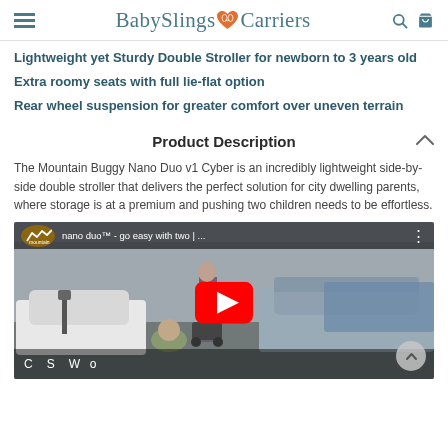BabySlings & Carriers
Lightweight yet Sturdy Double Stroller for newborn to 3 years old
Extra roomy seats with full lie-flat option
Rear wheel suspension for greater comfort over uneven terrain
Product Description
The Mountain Buggy Nano Duo v1 Cyber is an incredibly lightweight side-by-side double stroller that delivers the perfect solution for city dwelling parents, where storage is at a premium and pushing two children needs to be effortless.
[Figure (screenshot): YouTube video thumbnail showing a woman pushing a nano duo stroller on a city street with cars in the background. Video title: nano duo™ - go easy with two | ... with a YouTube play button overlay and Mountain Buggy logo badge.]